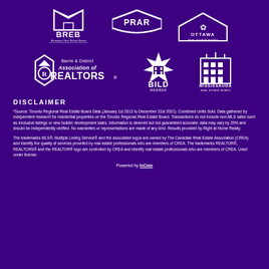[Figure (logo): BREB - Brampton Real Estate Board logo, white on purple]
[Figure (logo): PRAR logo, white on purple]
[Figure (logo): Ottawa Real Estate Board logo with maple leaf, white on purple]
[Figure (logo): Barrie & District Association of REALTORS logo, white on purple]
[Figure (logo): BILD Member logo, white on purple]
[Figure (logo): Mississauga Real Estate Board logo, white on purple]
DISCLAIMER
*Source: Toronto Regional Real Estate Board Data (January 1st 2013 to December 31st 2021). Combined Units Sold. Data gathered by independent research for residential properties on the Toronto Regional Real Estate Board. Transactions do not include non-MLS sales such as exclusive listings or new builder development sales. Information is deemed but not guaranteed accurate; data may vary by 25% and should be independently verified. No warranties or representations are made of any kind. Results provided by Right at Home Realty.
The trademarks MLS®, Multiple Listing Service® and the associated logos are owned by The Canadian Real Estate Association (CREA) and identify the quality of services provided by real estate professionals who are members of CREA. The trademarks REALTOR®, REALTORS® and the REALTOR® logo are controlled by CREA and identify real estate professionals who are members of CREA. Used under license.
Powered by InCom